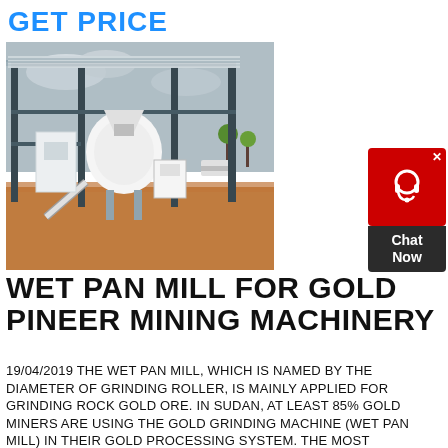GET PRICE
[Figure (photo): Outdoor industrial mining machinery installation under a metal roof structure, with white equipment visible on a red-dirt construction site.]
WET PAN MILL FOR GOLD PINEER MINING MACHINERY
19/04/2019 THE WET PAN MILL, WHICH IS NAMED BY THE DIAMETER OF GRINDING ROLLER, IS MAINLY APPLIED FOR GRINDING ROCK GOLD ORE. IN SUDAN, AT LEAST 85% GOLD MINERS ARE USING THE GOLD GRINDING MACHINE (WET PAN MILL) IN THEIR GOLD PROCESSING SYSTEM. THE MOST IMPORTANT POINT IS THAT OUR CUSTOMERS CAN GET PURE GOLD DIRECTLY AFTER ITS